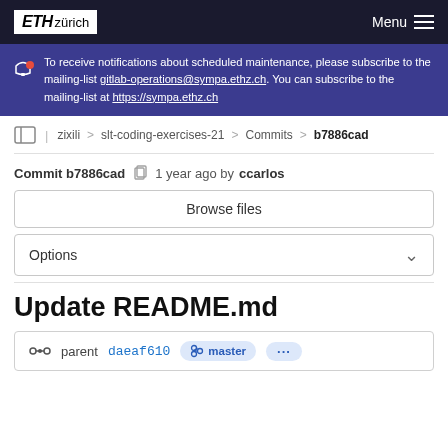ETH zürich  Menu
To receive notifications about scheduled maintenance, please subscribe to the mailing-list gitlab-operations@sympa.ethz.ch. You can subscribe to the mailing-list at https://sympa.ethz.ch
zixili > slt-coding-exercises-21 > Commits > b7886cad
Commit b7886cad  1 year ago by ccarlos
Browse files
Options
Update README.md
parent daeaf610  master  ...